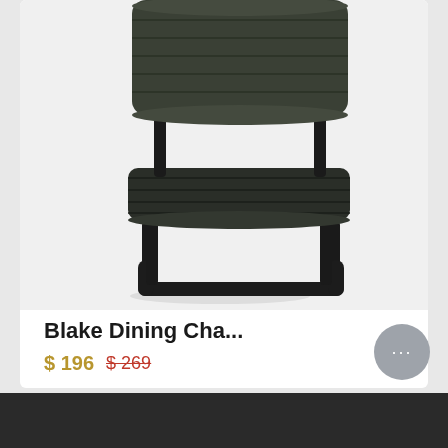[Figure (photo): A dark olive/forest green tufted velvet dining chair with black metal cantilever frame, viewed from the front-side angle showing the seat, backrest, and U-shaped base. Background is white/light gray.]
Blake Dining Cha...
$ 196  $ 269